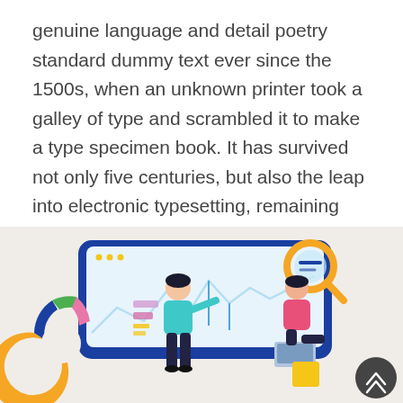genuine language and detail poetry standard dummy text ever since the 1500s, when an unknown printer took a galley of type and scrambled it to make a type specimen book. It has survived not only five centuries, but also the leap into electronic typesetting, remaining essentiall year unchanged. It was popularised in the with the release of Letraset sheets containing Lorem Ipsum passages, and more recently with desktop publishing
[Figure (illustration): Flat-style illustration on a beige/cream background showing two cartoon people in front of a large blue monitor/dashboard display with a line chart (wavy line). The left person (teal/aqua shirt, dark pants) is pointing at the screen. The right person (pink shirt, dark pants) is seated and holding a laptop. In the foreground left there is a donut/pie chart with orange, navy, green, and pink segments, and a small legend panel with colored bars. In the lower right there is a dark circular scroll-to-top button with upward chevron arrows.]